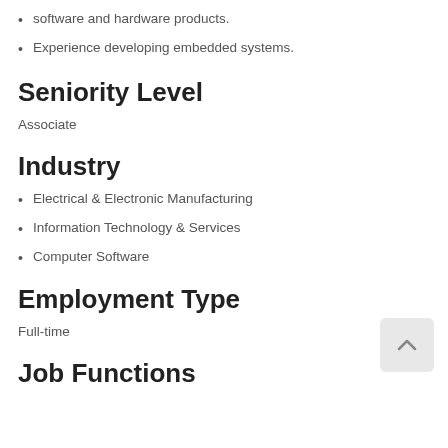software and hardware products.
Experience developing embedded systems.
Seniority Level
Associate
Industry
Electrical & Electronic Manufacturing
Information Technology & Services
Computer Software
Employment Type
Full-time
Job Functions